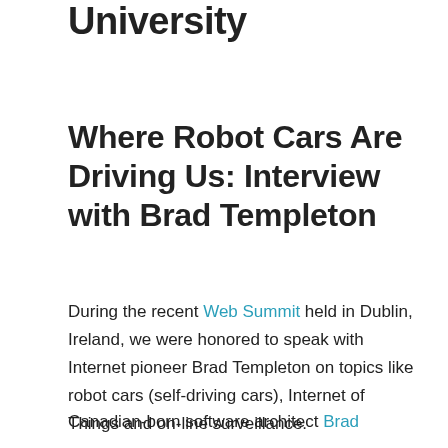University
Where Robot Cars Are Driving Us: Interview with Brad Templeton
During the recent Web Summit held in Dublin, Ireland, we were honored to speak with Internet pioneer Brad Templeton on topics like robot cars (self-driving cars), Internet of Things and on-line surveillance.
Canadian-born software architect Brad